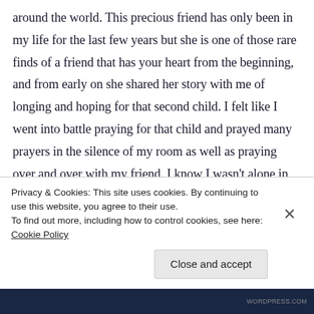around the world. This precious friend has only been in my life for the last few years but she is one of those rare finds of a friend that has your heart from the beginning, and from early on she shared her story with me of longing and hoping for that second child. I felt like I went into battle praying for that child and prayed many prayers in the silence of my room as well as praying over and over with my friend. I know I wasn't alone in that battle that many others battled in prayer for
Privacy & Cookies: This site uses cookies. By continuing to use this website, you agree to their use.
To find out more, including how to control cookies, see here: Cookie Policy
Close and accept